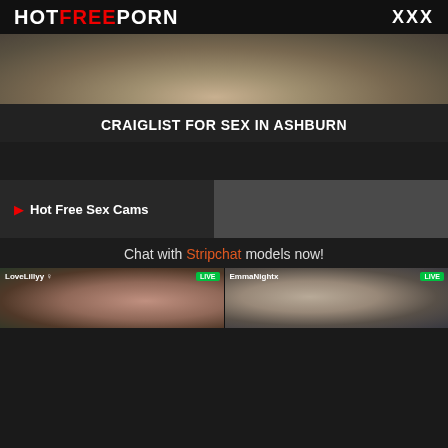HOTFREEPORN  XXX
[Figure (photo): Banner image showing blurred person with blonde hair outdoors]
CRAIGLIST FOR SEX IN ASHBURN
🎥 Hot Free Sex Cams
Chat with Stripchat models now!
[Figure (photo): LoveLillyy live cam thumbnail showing woman with dark hair - LIVE badge]
[Figure (photo): EmmaNightx live cam thumbnail showing woman - LIVE badge]